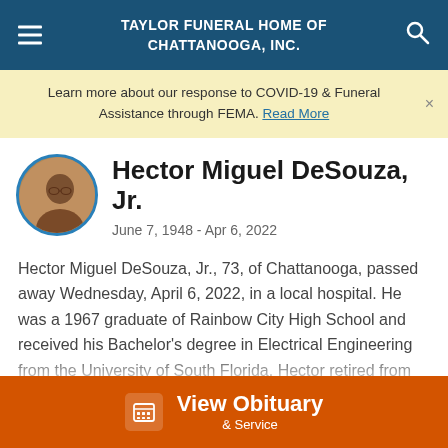TAYLOR FUNERAL HOME OF CHATTANOOGA, INC.
Learn more about our response to COVID-19 & Funeral Assistance through FEMA. Read More
Hector Miguel DeSouza, Jr.
June 7, 1948 - Apr 6, 2022
Hector Miguel DeSouza, Jr., 73, of Chattanooga, passed away Wednesday, April 6, 2022, in a local hospital. He was a 1967 graduate of Rainbow City High School and received his Bachelor's degree in Electrical Engineering from the University of South Florida. Hector retired from Tennessee
View Obituary & Service